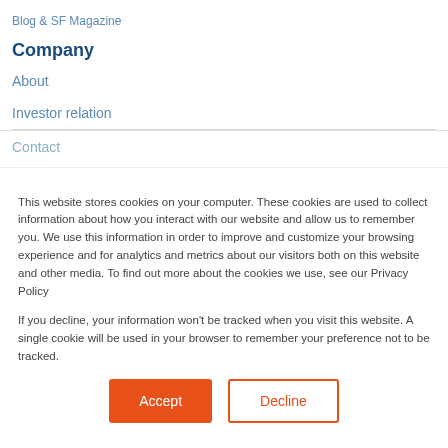Blog & SF Magazine
Company
About
Investor relation
Contact
This website stores cookies on your computer. These cookies are used to collect information about how you interact with our website and allow us to remember you. We use this information in order to improve and customize your browsing experience and for analytics and metrics about our visitors both on this website and other media. To find out more about the cookies we use, see our Privacy Policy
If you decline, your information won't be tracked when you visit this website. A single cookie will be used in your browser to remember your preference not to be tracked.
Accept | Decline